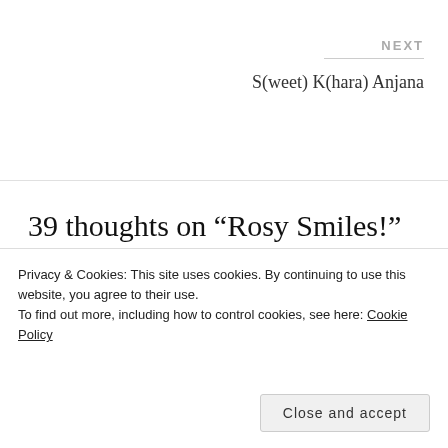NEXT
S(weet) K(hara) Anjana
39 thoughts on “Rosy Smiles!”
[Figure (photo): Avatar photo of AJ Blythe, a woman with short dark hair and glasses, smiling, wearing a yellow top]
AJ Blythe
Privacy & Cookies: This site uses cookies. By continuing to use this website, you agree to their use.
To find out more, including how to control cookies, see here: Cookie Policy
Close and accept
Like